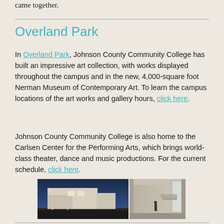came together.
Overland Park
In Overland Park, Johnson County Community College has built an impressive art collection, with works displayed throughout the campus and in the new, 4,000-square foot Nerman Museum of Contemporary Art. To learn the campus locations of the art works and gallery hours, click here.
Johnson County Community College is also home to the Carlsen Center for the Performing Arts, which brings world-class theater, dance and music productions. For the current schedule, click here.
[Figure (photo): Exterior night view of a modern white building, likely the Nerman Museum of Contemporary Art]
[Figure (photo): Interior view of a gallery or lobby space with high ceilings and a figure walking]